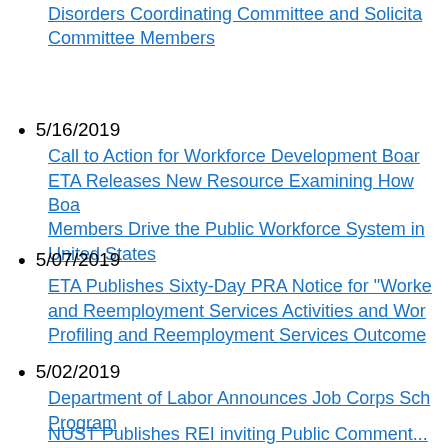Disorders Coordinating Committee and Solicita Committee Members
5/16/2019 Call to Action for Workforce Development Board ETA Releases New Resource Examining How Board Members Drive the Public Workforce System in United States
5/07/2019 ETA Publishes Sixty-Day PRA Notice for "Worker and Reemployment Services Activities and Wor Profiling and Reemployment Services Outcome
5/02/2019 Department of Labor Announces Job Corps Sch Program
NUST Publishes REI inviting Public Comment...